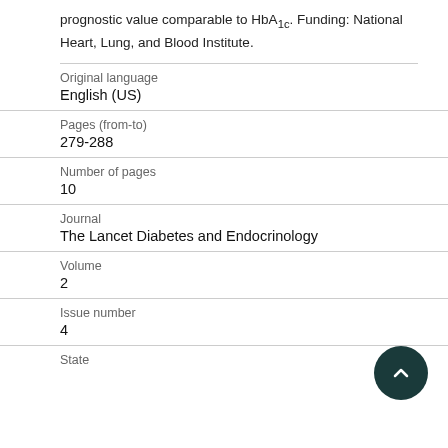prognostic value comparable to HbA1c. Funding: National Heart, Lung, and Blood Institute.
| Field | Value |
| --- | --- |
| Original language | English (US) |
| Pages (from-to) | 279-288 |
| Number of pages | 10 |
| Journal | The Lancet Diabetes and Endocrinology |
| Volume | 2 |
| Issue number | 4 |
| State |  |